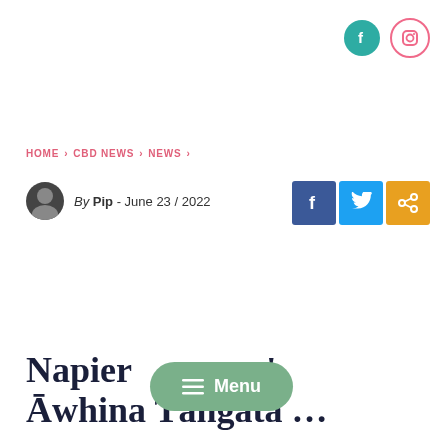[Figure (logo): Facebook circle icon (teal) and Instagram circle icon (pink outline) in top right corner]
HOME › CBD NEWS › NEWS ›
By Pip - June 23 / 2022
[Figure (other): Social share buttons: Facebook (blue), Twitter (light blue), Share (orange)]
Napier … Āwhina Tāngata …